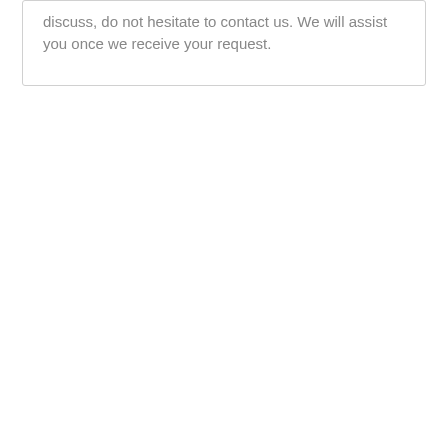discuss, do not hesitate to contact us. We will assist you once we receive your request.